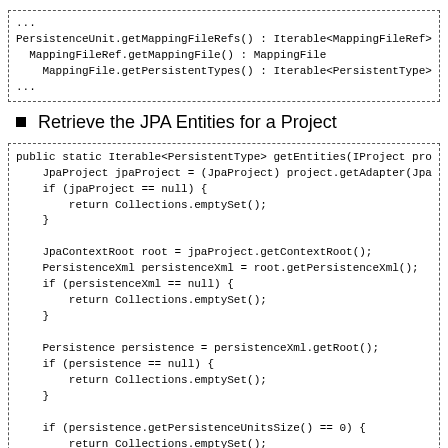[Figure (screenshot): Code block showing PersistenceUnit.getMappingFileRefs(), MappingFileRef.getMappingFile(), MappingFile.getPersistentTypes() calls in a dashed border box]
Retrieve the JPA Entities for a Project
[Figure (screenshot): Code block showing getEntities(IProject project) method implementation with JpaProject, JpaContextRoot, PersistenceXml, Persistence, PersistenceUnit, ArrayList and for-loop logic, in a dashed border box]